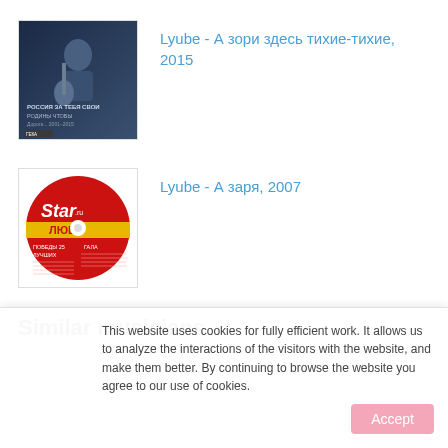[Figure (photo): Album cover for Lyube - А зори здесь тихие-тихие, 2015. Shows a man with a guitar, dark background with Russian text.]
Lyube - А зори здесь тихие-тихие, 2015
[Figure (photo): Album cover for Lyube - А заря, 2007. Shows a red CD disc with Star logo and Cyrillic text ЛЮБЭ.]
Lyube - А заря, 2007
Similar musicians
This website uses cookies for fully efficient work. It allows us to analyze the interactions of the visitors with the website, and make them better. By continuing to browse the website you agree to our use of cookies.